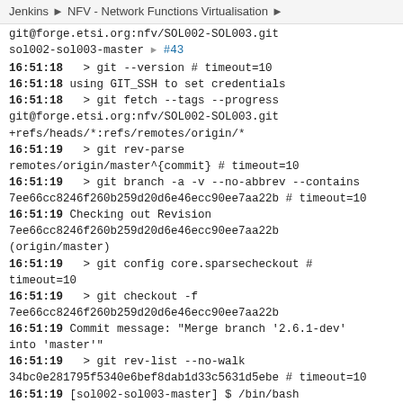Jenkins > NFV - Network Functions Virtualisation >
git@forge.etsi.org:nfv/SOL002-SOL003.git sol002-sol003-master > #43
16:51:18   > git --version # timeout=10
16:51:18 using GIT_SSH to set credentials
16:51:18   > git fetch --tags --progress git@forge.etsi.org:nfv/SOL002-SOL003.git +refs/heads/*:refs/remotes/origin/*
16:51:19   > git rev-parse remotes/origin/master^{commit} # timeout=10
16:51:19   > git branch -a -v --no-abbrev --contains 7ee66cc8246f260b259d20d6e46ecc90ee7aa22b # timeout=10
16:51:19 Checking out Revision 7ee66cc8246f260b259d20d6e46ecc90ee7aa22b (origin/master)
16:51:19   > git config core.sparsecheckout # timeout=10
16:51:19   > git checkout -f 7ee66cc8246f260b259d20d6e46ecc90ee7aa22b
16:51:19 Commit message: "Merge branch '2.6.1-dev' into 'master'"
16:51:19   > git rev-list --no-walk 34bc0e281795f5340e6bef8dab1d33c5631d5ebe # timeout=10
16:51:19 [sol002-sol003-master] $ /bin/bash /tmp/jenkins777460888658105251.sh
16:51:20 ./build_container.sh: line 7: proxy: command